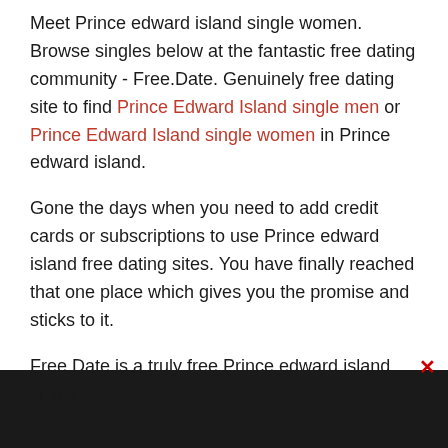Meet Prince edward island single women. Browse singles below at the fantastic free dating community - Free.Date. Genuinely free dating site to find Prince Edward Island single men or Prince Edward Island single women in Prince edward island.
Gone the days when you need to add credit cards or subscriptions to use Prince edward island free dating sites. You have finally reached that one place which gives you the promise and sticks to it.
Free Date is a truly free Prince edward island single